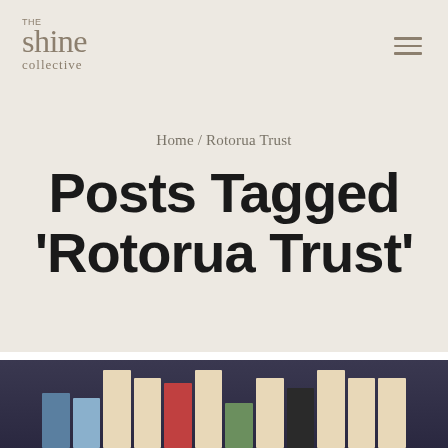THE shine collective
Home / Rotorua Trust
Posts Tagged 'Rotorua Trust'
[Figure (photo): Bottom strip showing a display of greeting cards and books on shelves with colorful covers, partially visible at bottom of page]